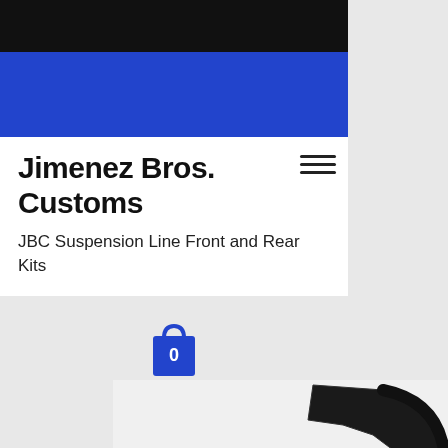Jimenez Bros. Customs
JBC Suspension Line Front and Rear Kits
[Figure (other): Shopping cart bag icon with number 0]
< Back to Home
[Figure (photo): Automotive suspension kit parts — black metal brackets and hardware components]